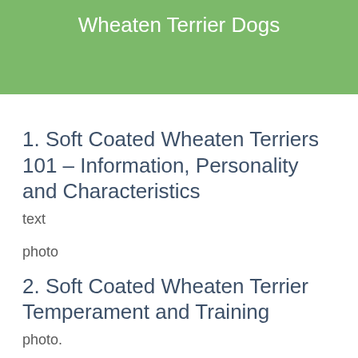Wheaten Terrier Dogs
1. Soft Coated Wheaten Terriers 101 – Information, Personality and Characteristics
text
photo
2. Soft Coated Wheaten Terrier Temperament and Training
photo.
3. Soft Coated Wheaten Terrier Diet